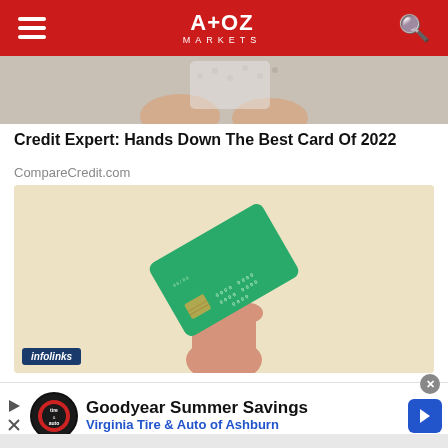A+OZ MARKETS
[Figure (photo): Cropped photo of person holding a credit card with polka-dot background, top portion visible]
Credit Expert: Hands Down The Best Card Of 2022
CompareCredit.com
[Figure (photo): Hand holding a green credit card against a light beige/cream background]
[Figure (screenshot): Goodyear Summer Savings advertisement for Virginia Tire & Auto of Ashburn with logo and navigation icon]